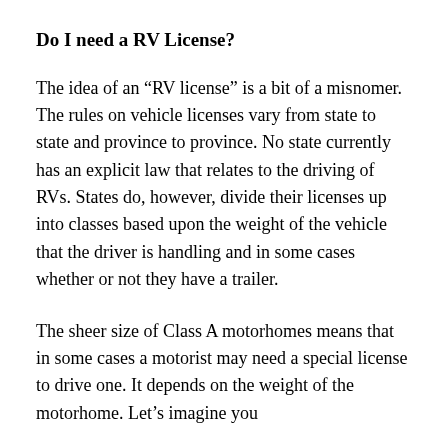Do I need a RV License?
The idea of an “RV license” is a bit of a misnomer. The rules on vehicle licenses vary from state to state and province to province. No state currently has an explicit law that relates to the driving of RVs. States do, however, divide their licenses up into classes based upon the weight of the vehicle that the driver is handling and in some cases whether or not they have a trailer.
The sheer size of Class A motorhomes means that in some cases a motorist may need a special license to drive one. It depends on the weight of the motorhome. Let’s imagine you